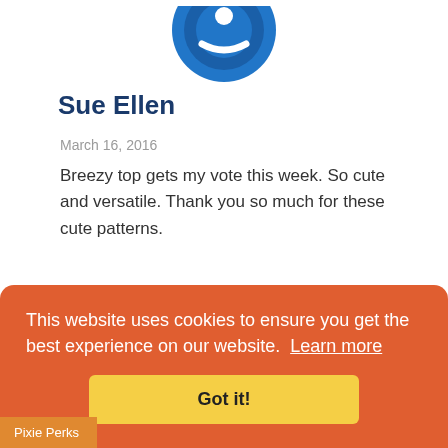[Figure (logo): Blue circular avatar/logo icon with white ring design, partially cropped at top]
Sue Ellen
March 16, 2016
Breezy top gets my vote this week. So cute and versatile. Thank you so much for these cute patterns.
[Figure (logo): Blue circular avatar/logo icon with white stylized design, partially cropped at bottom]
This website uses cookies to ensure you get the best experience on our website.  Learn more
Got it!
Pixie Perks